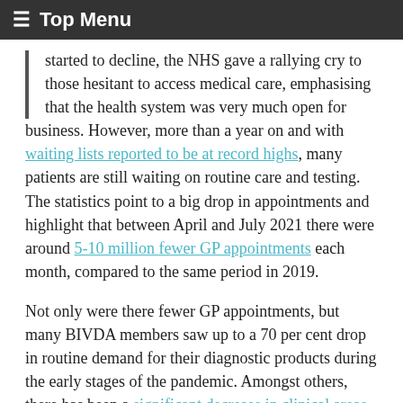≡ Top Menu
started to decline, the NHS gave a rallying cry to those hesitant to access medical care, emphasising that the health system was very much open for business. However, more than a year on and with waiting lists reported to be at record highs, many patients are still waiting on routine care and testing. The statistics point to a big drop in appointments and highlight that between April and July 2021 there were around 5-10 million fewer GP appointments each month, compared to the same period in 2019.
Not only were there fewer GP appointments, but many BIVDA members saw up to a 70 per cent drop in routine demand for their diagnostic products during the early stages of the pandemic. Amongst others, there has been a significant decrease in clinical areas such as anaemia, down